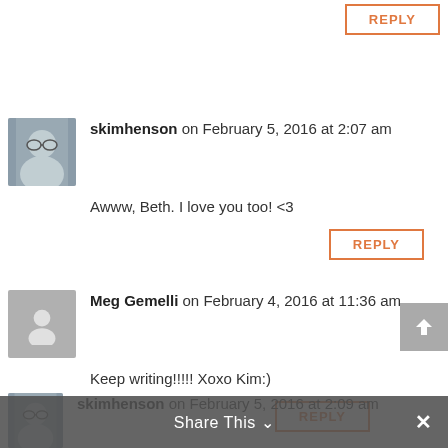REPLY (top, partial)
[Figure (photo): Avatar photo of skimhenson - older woman with glasses]
skimhenson on February 5, 2016 at 2:07 am
Awww, Beth. I love you too! <3
REPLY
[Figure (illustration): Generic gray avatar placeholder silhouette]
Meg Gemelli on February 4, 2016 at 11:36 am
Keep writing!!!!! Xoxo Kim:)
REPLY
[Figure (photo): Avatar photo of skimhenson - partial, cropped at bottom]
skimhenson on February 5, 2016 at 2:09 am
Share This